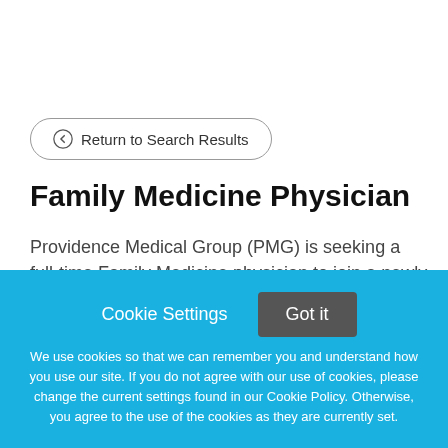← Return to Search Results
Family Medicine Physician
Providence Medical Group (PMG) is seeking a full-time Family Medicine physician to join a newly established
Cookie Settings   Got it
We use cookies so that we can remember you and understand how you use our site. If you do not agree with our use of cookies, please change the current settings found in our Cookie Policy. Otherwise, you agree to the use of the cookies as they are currently set.